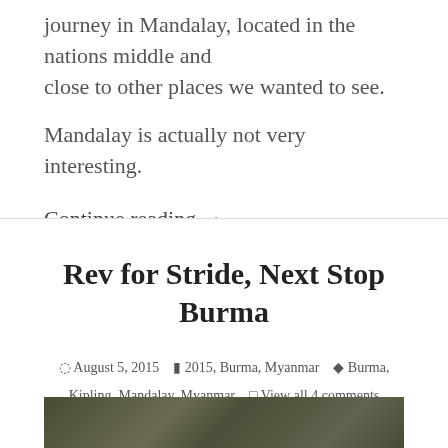journey in Mandalay, located in the nations middle and close to other places we wanted to see.
Mandalay is actually not very interesting.
Continue reading →
Rev for Stride, Next Stop Burma
August 5, 2015   2015, Burma, Myanmar   Burma, Kipling, Mandalay, Myanmar   View all 4 comments
[Figure (photo): A blurred outdoor photo with muted green and brown tones, suggesting motion or a landscape.]